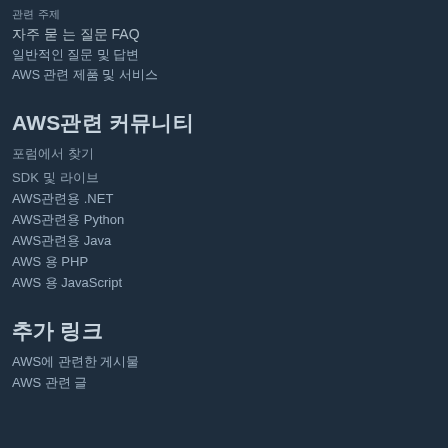관련 주제
자주 묻 는 질문 FAQ
일반적인 질문 및 답변
AWS 관련 제품 및 서비스
AWS관련 커뮤니티
포럼에서 찾기
SDK 및 라이브
AWS관련용 .NET
AWS관련용 Python
AWS관련용 Java
AWS 용 PHP
AWS 용 JavaScript
추가 링크
AWS에 관련한 게시물
AWS 관련 글